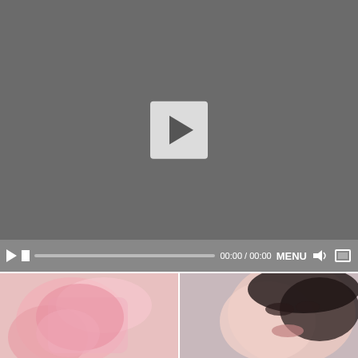[Figure (screenshot): Video player with dark gray background showing a play button in the center. Below the video area is a controls bar with play, stop, progress bar, time display (00:00 / 00:00), MENU button, volume, and fullscreen icons. Below the player are two thumbnail images side by side.]